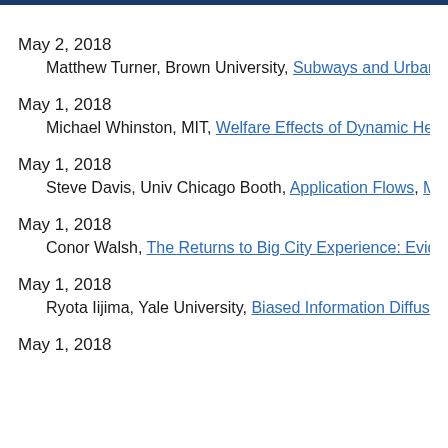May 2, 2018 — Matthew Turner, Brown University, Subways and Urban Ai...
May 1, 2018 — Michael Whinston, MIT, Welfare Effects of Dynamic Healt...
May 1, 2018 — Steve Davis, Univ Chicago Booth, Application Flows, Macro...
May 1, 2018 — Conor Walsh, The Returns to Big City Experience: Evidence...
May 1, 2018 — Ryota Iijima, Yale University, Biased Information Diffusion,...
May 1, 2018